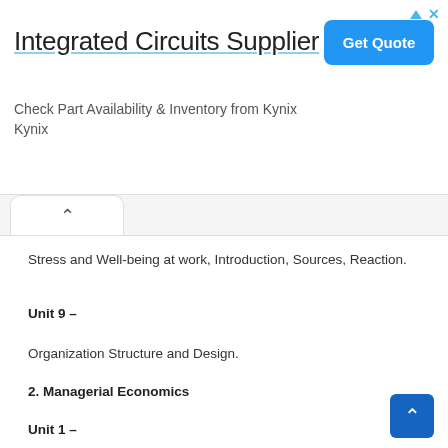[Figure (screenshot): Advertisement banner for Integrated Circuits Supplier by Kynix with a blue 'Get Quote' button]
Stress and Well-being at work, Introduction, Sources, Reaction.
Unit 9 –
Organization Structure and Design.
2. Managerial Economics
Unit 1 –